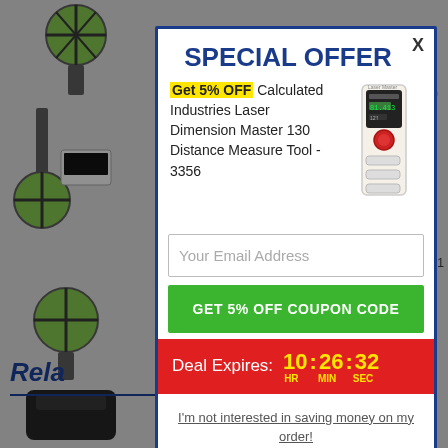SPECIAL OFFER
Get 5% OFF Calculated Industries Laser Dimension Master 130 Distance Measure Tool - 3356
Your Email Address
GET 5% OFF COUPON CODE
Deal Expires: 10 : 26 : 32 HR MIN SEC
I'm not interested in saving money on my order!